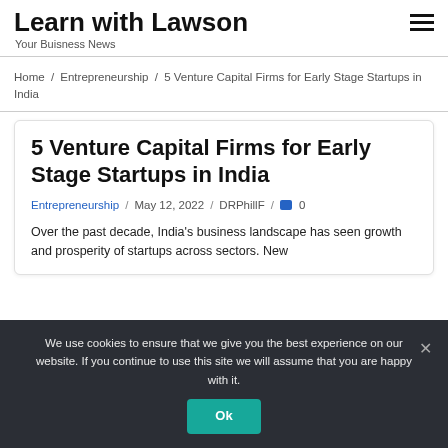Learn with Lawson
Your Buisness News
Home / Entrepreneurship / 5 Venture Capital Firms for Early Stage Startups in India
5 Venture Capital Firms for Early Stage Startups in India
Entrepreneurship / May 12, 2022 / DRPhillF / 0
Over the past decade, India's business landscape has seen growth and prosperity of startups across sectors. New
We use cookies to ensure that we give you the best experience on our website. If you continue to use this site we will assume that you are happy with it. Ok